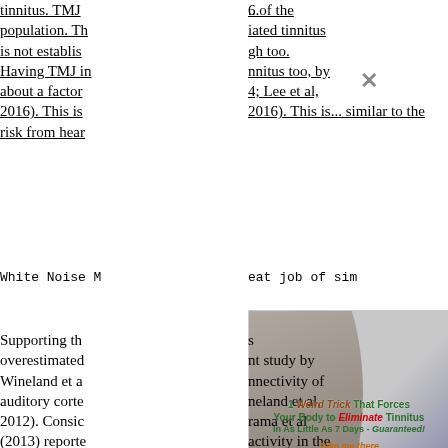tinnitus. TMJ ... of the population. Th... iated tinnitus is not establis... gh too. Having TMJ in... nnitus too, by about a factor... 4; Lee et al, 2016). This is... similar to the risk from hear...
White Noise M... eat job of sim...
[Figure (other): Advertisement overlay showing a person holding their head, with text '1 Weird Trick That Forces Your Body to Eliminate Tinnitus In As Little As 7 Days - Guaranteed!' and a close button (X)]
Supporting th... s overestimated... nt study by Wineland et a... nnectivity of auditory corte... neland et al, 2012). Consic... rama et al (2013) reporte... activity in the bilateral rectu... relating with distress. Louc... n the thalamus, bila... te. In other words, the ch... tinnitus seem to be as... e.g. cingulate), an... here are a few areas whe... udate). This makes a more... but of course, they were me... es related to...